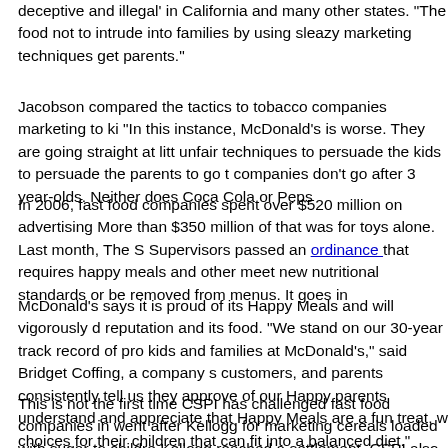deceptive and illegal' in California and many other states. "The food not to intrude into families by using sleazy marketing techniques get parents."
Jacobson compared the tactics to tobacco companies marketing to ki "In this instance, McDonald's is worse. They are going straight at litt unfair techniques to persuade the kids to persuade the parents to go t companies don't go after 3 year-olds. Neither does Coca Cola or Peps
In 2006, fast food companies spent over $520 million on advertising More than $350 million of that was for toys alone. Last month, The S Supervisors passed an ordinance that requires happy meals and other meet new nutritional standards or be removed from menus. It goes in
McDonald's says it is proud of its Happy Meals and will vigorously d reputation and its food. "We stand on our 30-year track record of pro kids and families at McDonald's," said Bridget Coffing, a company s customers, and parents consistently tell us they approve of our Happy parents understand and appreciate that Happy Meals are a fun treat, w choices for their children that can fit into a balanced diet."
This is not the first time CSPI has challenged fast food companies in went after Kellogg for marketing cereals loaded with sugar to childre Kellogg reached a settlement. CSPI also sued Kentucky Fried Chicke partially hydrogenated oil, which is high in trans fat. When KFC pha